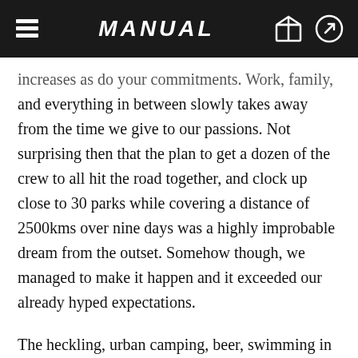MANUAL
increases as do your commitments. Work, family, and everything in between slowly takes away from the time we give to our passions. Not surprising then that the plan to get a dozen of the crew to all hit the road together, and clock up close to 30 parks while covering a distance of 2500kms over nine days was a highly improbable dream from the outset. Somehow though, we managed to make it happen and it exceeded our already hyped expectations.
The heckling, urban camping, beer, swimming in ice-cold rivers and schralping were all laid on in heavy quantities, and those days will be forever deeply burnt into our memories. From backyard